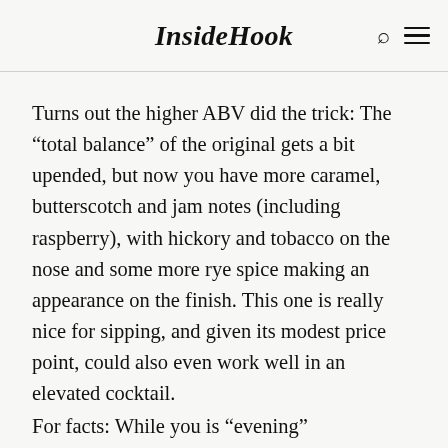InsideHook
Turns out the higher ABV did the trick: The “total balance” of the original gets a bit upended, but now you have more caramel, butterscotch and jam notes (including raspberry), with hickory and tobacco on the nose and some more rye spice making an appearance on the finish. This one is really nice for sipping, and given its modest price point, could also even work well in an elevated cocktail.
For facts: While you is “evening”